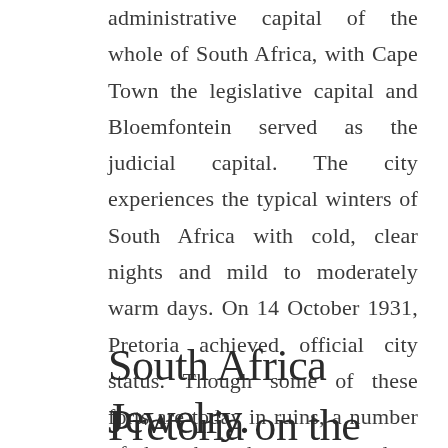administrative capital of the whole of South Africa, with Cape Town the legislative capital and Bloemfontein served as the judicial capital. The city experiences the typical winters of South Africa with cold, clear nights and mild to moderately warm days. On 14 October 1931, Pretoria achieved official city status. Though some of these forts are today in ruins, a number of them have been preserved as national monuments.
South Africa Jewelry.
Pretoria on the map